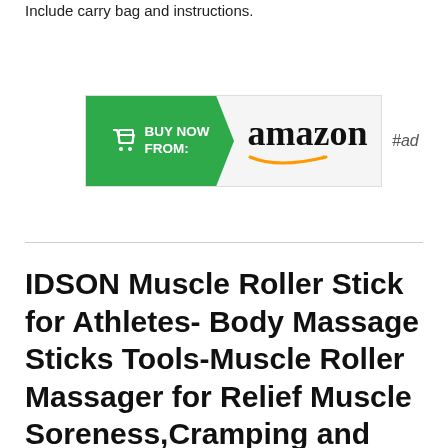Include carry bag and instructions.
[Figure (other): Amazon 'Buy Now From' button with green arrow and Amazon logo, followed by #ad label]
IDSON Muscle Roller Stick for Athletes- Body Massage Sticks Tools-Muscle Roller Massager for Relief Muscle Soreness,Cramping and